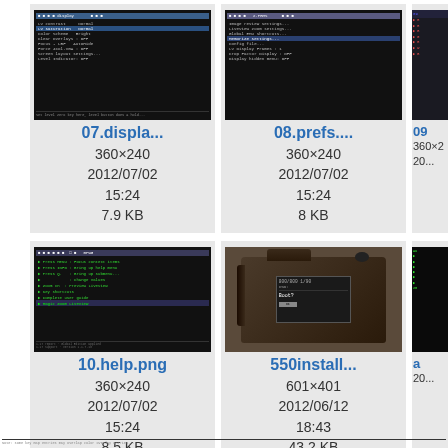[Figure (screenshot): Camera LCD display showing display settings menu]
07.displa...
360×240
2012/07/02
15:24
7.9 KB
[Figure (screenshot): Camera LCD display showing preferences/settings menu]
08.prefs....
360×240
2012/07/02
15:24
8 KB
[Figure (screenshot): Partially visible third screenshot]
09...
[Figure (screenshot): Camera LCD showing help menu with keyboard shortcuts]
10.help.png
360×240
2012/07/02
15:24
8.5 KB
[Figure (photo): Photo of a Canon DSLR camera body showing rear LCD screen]
550install...
601×401
2012/06/12
18:43
43.2 KB
[Figure (screenshot): Partially visible screenshot]